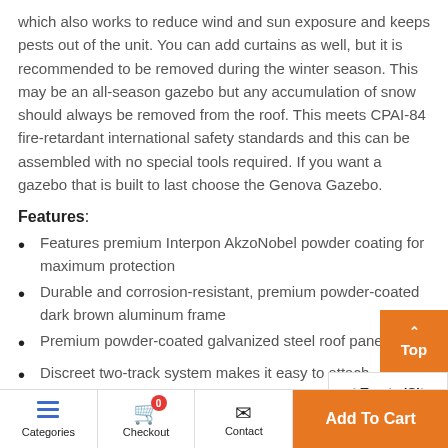which also works to reduce wind and sun exposure and keeps pests out of the unit. You can add curtains as well, but it is recommended to be removed during the winter season. This may be an all-season gazebo but any accumulation of snow should always be removed from the roof. This meets CPAI-84 fire-retardant international safety standards and this can be assembled with no special tools required. If you want a gazebo that is built to last choose the Genova Gazebo.
Features:
Features premium Interpon AkzoNobel powder coating for maximum protection
Durable and corrosion-resistant, premium powder-coated dark brown aluminum frame
Premium powder-coated galvanized steel roof pane
Discreet two-track system makes it easy to attach mosquito net and separately sold privacy curt
Categories  Checkout  Contact  Add To Cart